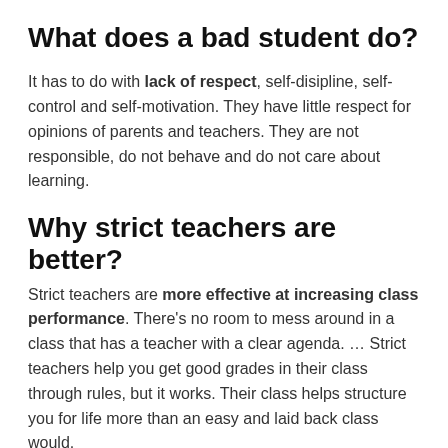What does a bad student do?
It has to do with lack of respect, self-disipline, self-control and self-motivation. They have little respect for opinions of parents and teachers. They are not responsible, do not behave and do not care about learning.
Why strict teachers are better?
Strict teachers are more effective at increasing class performance. There’s no room to mess around in a class that has a teacher with a clear agenda. … Strict teachers help you get good grades in their class through rules, but it works. Their class helps structure you for life more than an easy and laid back class would.
How can I become a good